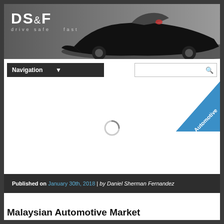[Figure (photo): DS&F Drive Safe Fast website header banner showing a black sports car on a grey background with DS&F logo and tagline 'drive safe fast']
Navigation
[Figure (other): Automotive category badge in blue triangle shape in top-right corner]
[Figure (other): Loading spinner icon]
Published on January 30th, 2018 | by Daniel Sherman Fernandez
Malaysian Automotive Market